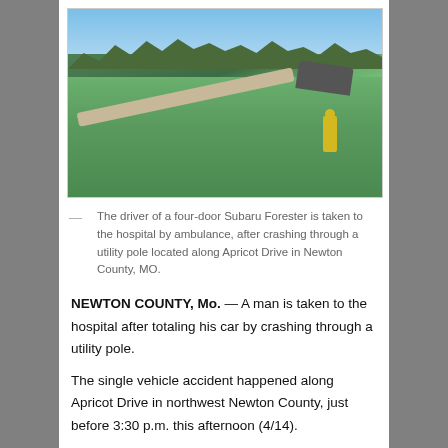[Figure (photo): Photo of accident scene showing a fallen utility pole on grass, an overturned vehicle in the background, and a worker in a yellow vest surveying the scene. Blue sky and trees visible in background.]
— The driver of a four-door Subaru Forester is taken to the hospital by ambulance, after crashing through a utility pole located along Apricot Drive in Newton County, MO.
NEWTON COUNTY, Mo. — A man is taken to the hospital after totaling his car by crashing through a utility pole.
The single vehicle accident happened along Apricot Drive in northwest Newton County, just before 3:30 p.m. this afternoon (4/14).